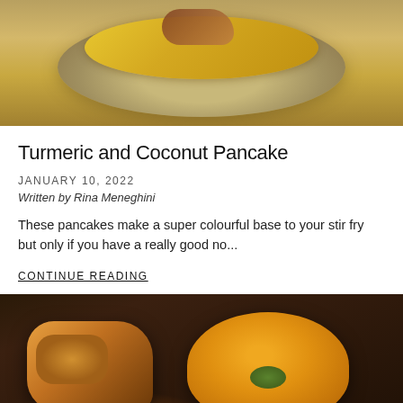[Figure (photo): Top-down view of a turmeric-yellow pancake on a speckled plate with stir fry toppings]
Turmeric and Coconut Pancake
JANUARY 10, 2022
Written by Rina Meneghini
These pancakes make a super colourful base to your stir fry but only if you have a really good no...
CONTINUE READING
[Figure (photo): Close-up of a curry dish with orange pumpkin pieces, braised meat with turmeric crust, and fresh herb garnish on a white plate]